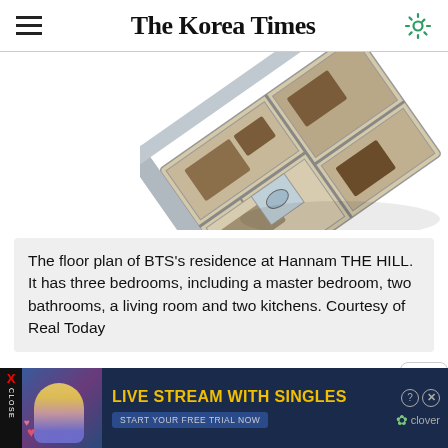The Korea Times
[Figure (illustration): 3D isometric floor plan of BTS's residence at Hannam THE HILL, showing three bedrooms including a master bedroom, two bathrooms, a living room and two kitchens.]
The floor plan of BTS's residence at Hannam THE HILL. It has three bedrooms, including a master bedroom, two bathrooms, a living room and two kitchens. Courtesy of Real Today
According to a floor plan provided to The Korea Times by real estate analyst firm Real Today, the band's 300-square-meter suite has a large living room,
[Figure (screenshot): Advertisement banner: LIVE STREAM WITH SINGLES - START YOUR FREE TRIAL NOW - clover]